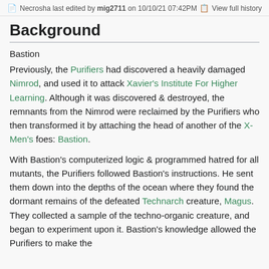Necrosha last edited by mig2711 on 10/10/21 07:42PM  View full history
Background
Bastion
Previously, the Purifiers had discovered a heavily damaged Nimrod, and used it to attack Xavier's Institute For Higher Learning. Although it was discovered & destroyed, the remnants from the Nimrod were reclaimed by the Purifiers who then transformed it by attaching the head of another of the X-Men's foes: Bastion.
With Bastion's computerized logic & programmed hatred for all mutants, the Purifiers followed Bastion's instructions. He sent them down into the depths of the ocean where they found the dormant remains of the defeated Technarch creature, Magus. They collected a sample of the techno-organic creature, and began to experiment upon it. Bastion's knowledge allowed the Purifiers to make the